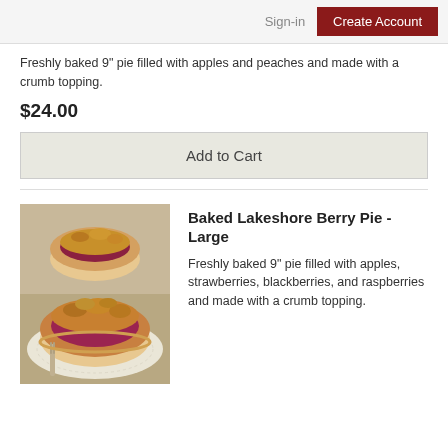Sign-in | Create Account
Freshly baked 9" pie filled with apples and peaches and made with a crumb topping.
$24.00
Add to Cart
[Figure (photo): Photo of a berry crumb pie slice on a doily with a fork, and a whole berry pie in the background]
Baked Lakeshore Berry Pie - Large
Freshly baked 9" pie filled with apples, strawberries, blackberries, and raspberries and made with a crumb topping.